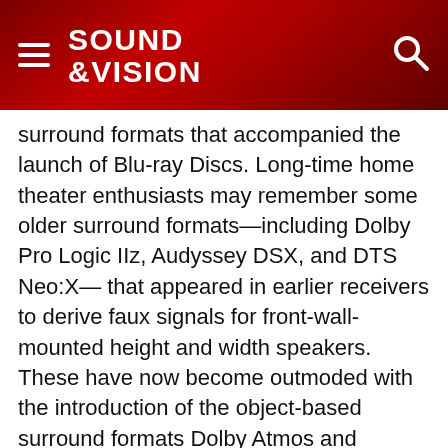SOUND & VISION
surround formats that accompanied the launch of Blu-ray Discs. Long-time home theater enthusiasts may remember some older surround formats—including Dolby Pro Logic IIz, Audyssey DSX, and DTS Neo:X— that appeared in earlier receivers to derive faux signals for front-wall-mounted height and width speakers. These have now become outmoded with the introduction of the object-based surround formats Dolby Atmos and DTS:X. (Some AVRs today also offer Auro-3D processing, which similarly uses height speakers for an enhanced surround effect. This European-based technology requires a different and more elaborate speaker setup than Atmos or DTS:X—and so far, it has failed to catch on in the U.S. It's not heavily supported by AVR manufacturers, so